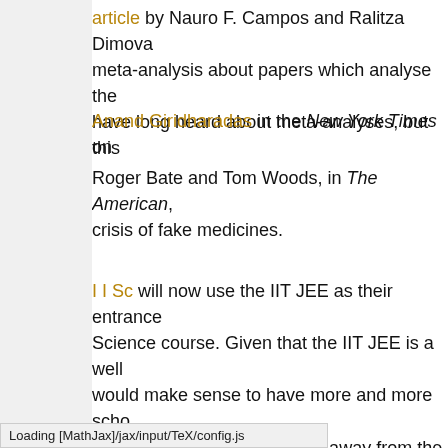article by Nauro F. Campos and Ralitza Dimova meta-analysis about papers which analyse the have long heard about meta-analyses, but this
Anand Giridharadas in the New York Times on
Roger Bate and Tom Woods, in The American, crisis of fake medicines.
I I Sc will now use the IIT JEE as their entrance Science course. Given that the IIT JEE is a well would make sense to have more and more scho their intake. But as you move away from the top statistical precision of the score on a very difficu capability tends to decline. The managers of the adaptive testing, where the questions are dynam characteristics, in order to retain efficiency acro useful for sifting through m
Loading [MathJax]/jax/input/TeX/config.js